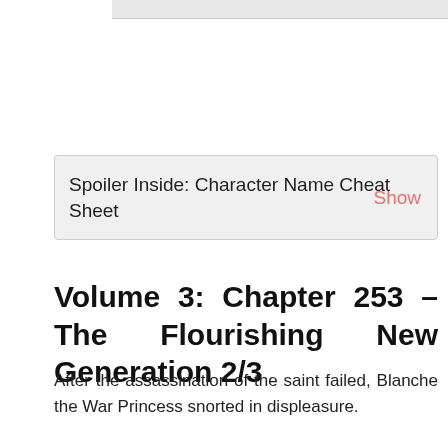Spoiler Inside: Character Name Cheat Sheet Show
Volume 3: Chapter 253 – The Flourishing New Generation 2/3
After the assassination of the saint failed, Blanche the War Princess snorted in displeasure.
“It can’t be helped if it can’t be done.”
How would they fight against the new emergent power in the south? They still had to deal with the…